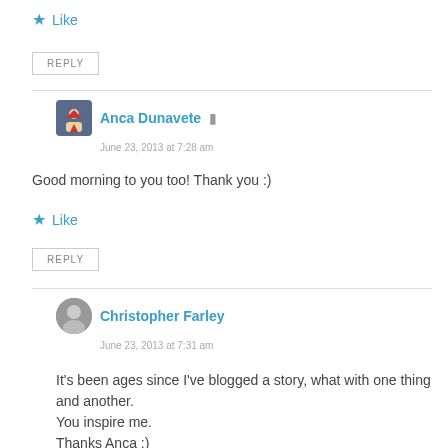★ Like
REPLY
Anca Dunavete
June 23, 2013 at 7:28 am
Good morning to you too! Thank you :)
★ Like
REPLY
Christopher Farley
June 23, 2013 at 7:31 am
It's been ages since I've blogged a story, what with one thing and another.
You inspire me.
Thanks Anca :)